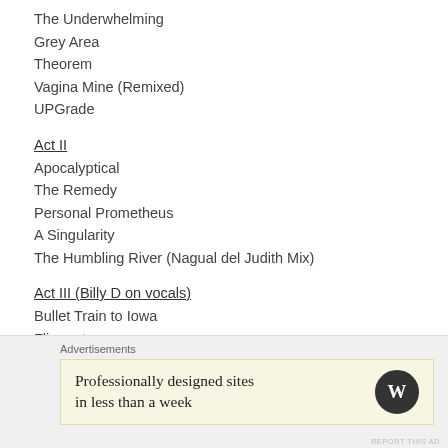The Underwhelming
Grey Area
Theorem
Vagina Mine (Remixed)
UPGrade
Act II
Apocalyptical
The Remedy
Personal Prometheus
A Singularity
The Humbling River (Nagual del Judith Mix)
Act III (Billy D on vocals)
Bullet Train to Iowa
Flippant
Conditions of My Parole
Bedlamite
Advertisements
Professionally designed sites in less than a week